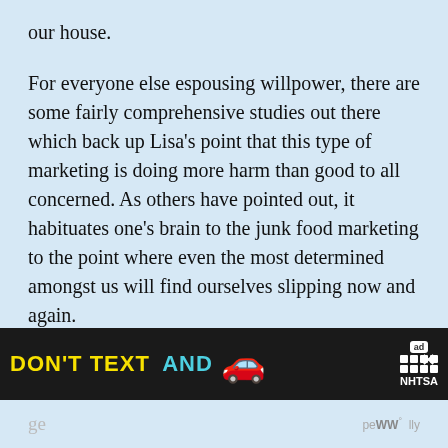our house.
For everyone else espousing willpower, there are some fairly comprehensive studies out there which back up Lisa's point that this type of marketing is doing more harm than good to all concerned. As others have pointed out, it habituates one's brain to the junk food marketing to the point where even the most determined amongst us will find ourselves slipping now and again.
And, for those who suggested that we just stay home and order from the Internet, that's probab more self-defeating. At least when I go to a store, I
[Figure (screenshot): Ad banner: DON'T TEXT AND [car emoji] with ad badge and NHTSA logo, with close button]